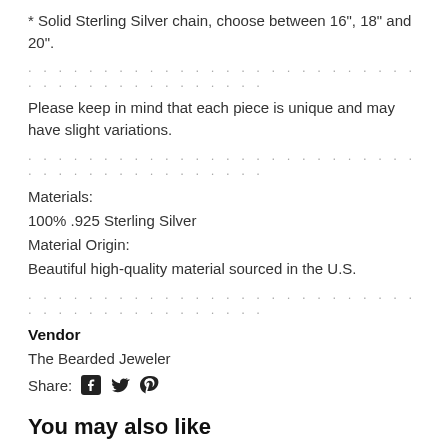* Solid Sterling Silver chain, choose between 16", 18" and 20".
. . . . . . . . . . . . . . . . . . . . . . . . . . . . . . . . . . . . . . . . . . . .
Please keep in mind that each piece is unique and may have slight variations.
. . . . . . . . . . . . . . . . . . . . . . . . . . . . . . . . . . . . . . . . . . . .
Materials:
100% .925 Sterling Silver
Material Origin:
Beautiful high-quality material sourced in the U.S.
. . . . . . . . . . . . . . . . . . . . . . . . . . . . . . . . . . . . . . . . . . . .
Vendor
The Bearded Jeweler
Share:
You may also like